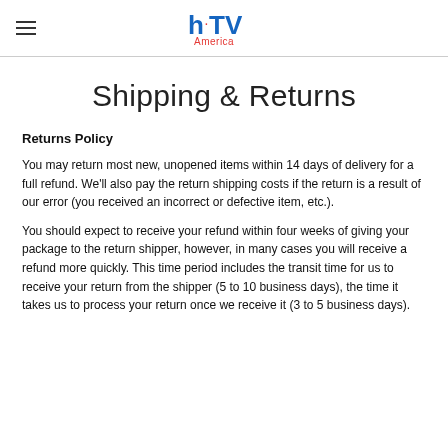HTV America
Shipping & Returns
Returns Policy
You may return most new, unopened items within 14 days of delivery for a full refund. We'll also pay the return shipping costs if the return is a result of our error (you received an incorrect or defective item, etc.).
You should expect to receive your refund within four weeks of giving your package to the return shipper, however, in many cases you will receive a refund more quickly. This time period includes the transit time for us to receive your return from the shipper (5 to 10 business days), the time it takes us to process your return once we receive it (3 to 5 business days).